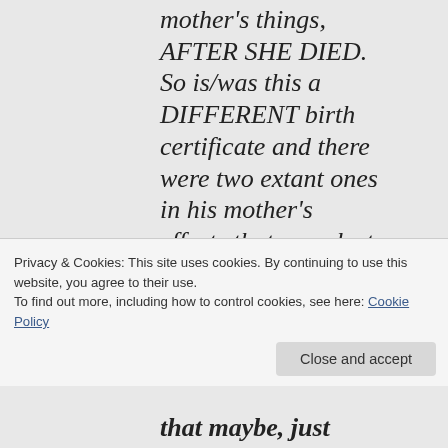mother's things, AFTER SHE DIED. So is/was this a DIFFERENT birth certificate and there were two extant ones in his mother's effects that were lost for years and he never bothered to look for them in
Privacy & Cookies: This site uses cookies. By continuing to use this website, you agree to their use. To find out more, including how to control cookies, see here: Cookie Policy
Close and accept
that maybe, just